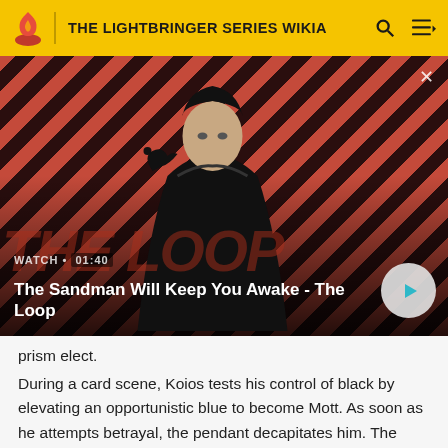THE LIGHTBRINGER SERIES WIKIA
[Figure (screenshot): Video thumbnail showing a dark-cloaked figure with a raven on their shoulder against a red and black diagonal striped background. Video title: 'The Sandman Will Keep You Awake - The Loop'. Duration label: WATCH · 01:40. Play button visible.]
prism elect.
During a card scene, Koios tests his control of black by elevating an opportunistic blue to become Mott. As soon as he attempts betrayal, the pendant decapitates him. The...